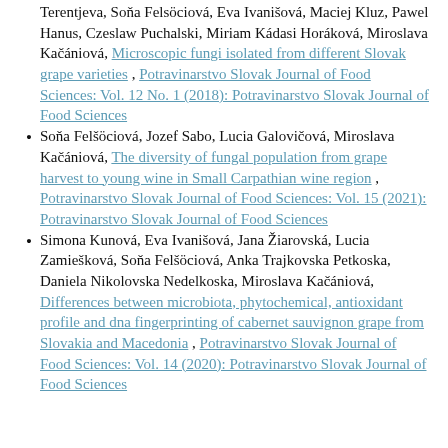Terentjeva, Soňa Felsöciová, Eva Ivanišová, Maciej Kluz, Pawel Hanus, Czeslaw Puchalski, Miriam Kádasi Horáková, Miroslava Kačániová, Microscopic fungi isolated from different Slovak grape varieties, Potravinarstvo Slovak Journal of Food Sciences: Vol. 12 No. 1 (2018): Potravinarstvo Slovak Journal of Food Sciences
Soňa Felšöciová, Jozef Sabo, Lucia Galovičová, Miroslava Kačániová, The diversity of fungal population from grape harvest to young wine in Small Carpathian wine region, Potravinarstvo Slovak Journal of Food Sciences: Vol. 15 (2021): Potravinarstvo Slovak Journal of Food Sciences
Simona Kunová, Eva Ivanišová, Jana Žiarovská, Lucia Zamiešková, Soňa Felšöciová, Anka Trajkovska Petkoska, Daniela Nikolovska Nedelkoska, Miroslava Kačániová, Differences between microbiota, phytochemical, antioxidant profile and dna fingerprinting of cabernet sauvignon grape from Slovakia and Macedonia, Potravinarstvo Slovak Journal of Food Sciences: Vol. 14 (2020): Potravinarstvo Slovak Journal of Food Sciences